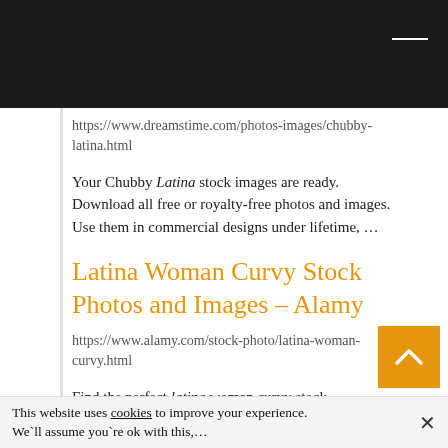[Figure (screenshot): Dark browser top bar with a white horizontal line (minimize/close button area)]
https://www.dreamstime.com/photos-images/chubby-latina.html
Your Chubby Latina stock images are ready. Download all free or royalty-free photos and images. Use them in commercial designs under lifetime, …
Latina Woman Curvy Stock Photos and Images – Alamy
https://www.alamy.com/stock-photo/latina-woman-curvy.html
Find the perfect latina woman curvy stock photo. Huge collection, amazing choice, 100+ million … Smiley latin 40 years old woman sitting in from computer.
This website uses cookies to improve your experience. We`ll assume you`re ok with this,…